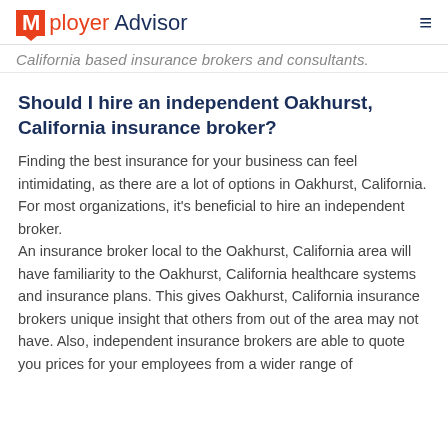Mployer Advisor
California based insurance brokers and consultants.
Should I hire an independent Oakhurst, California insurance broker?
Finding the best insurance for your business can feel intimidating, as there are a lot of options in Oakhurst, California. For most organizations, it’s beneficial to hire an independent broker. An insurance broker local to the Oakhurst, California area will have familiarity to the Oakhurst, California healthcare systems and insurance plans. This gives Oakhurst, California insurance brokers unique insight that others from out of the area may not have. Also, independent insurance brokers are able to quote you prices for your employees from a wider range of